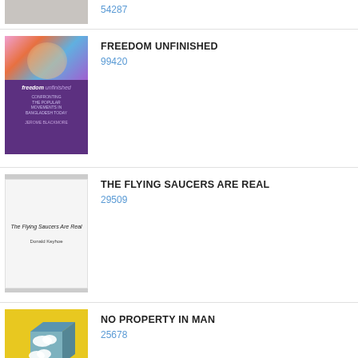54287
FREEDOM UNFINISHED
99420
THE FLYING SAUCERS ARE REAL
29509
NO PROPERTY IN MAN
25678
REVOLUTIONARY JOURNEY
41928